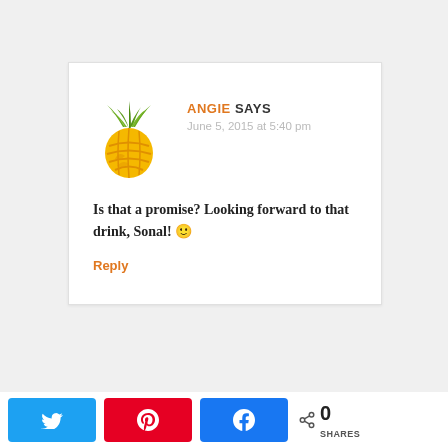[Figure (logo): Pineapple avatar logo with green leaves and yellow-orange pineapple body with decorative stripe patterns]
ANGIE SAYS
June 5, 2015 at 5:40 pm
Is that a promise? Looking forward to that drink, Sonal! 🙂
Reply